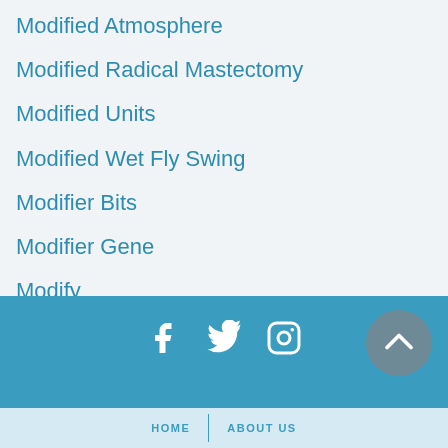Modified Atmosphere
Modified Radical Mastectomy
Modified Units
Modified Wet Fly Swing
Modifier Bits
Modifier Gene
Modify
Modigliani
HOME  |  ABOUT US